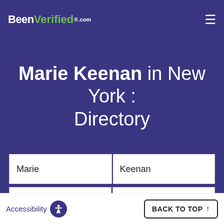BeenVerified.com
Marie Keenan in New York : Directory
Marie | Keenan | City | New York
SEARCH
Accessibility | BACK TO TOP ↑